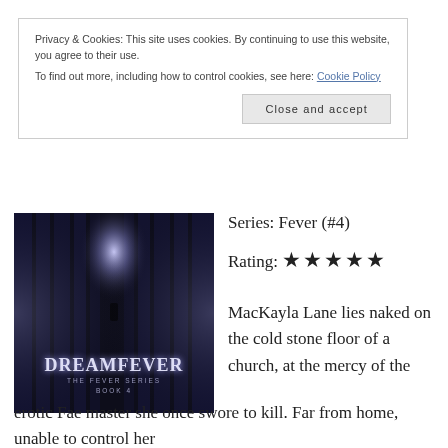Privacy & Cookies: This site uses cookies. By continuing to use this website, you agree to their use.
To find out more, including how to control cookies, see here: Cookie Policy
Close and accept
[Figure (photo): Book cover of Dreamfever, The Fever Series Book 4, showing a dark atmospheric scene with pillars, a glowing light and a lone figure, with swirling mist borders]
Series: Fever (#4)
Rating: ★★★★★
MacKayla Lane lies naked on the cold stone floor of a church, at the mercy of the erotic Fae master she once swore to kill. Far from home, unable to control her